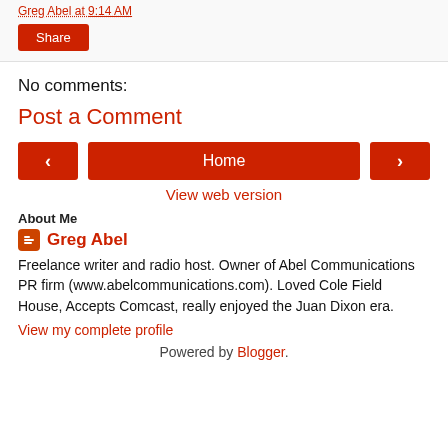Greg Abel at 9:14 AM
Share
No comments:
Post a Comment
‹ | Home | ›
View web version
About Me
Greg Abel
Freelance writer and radio host. Owner of Abel Communications PR firm (www.abelcommunications.com). Loved Cole Field House, Accepts Comcast, really enjoyed the Juan Dixon era.
View my complete profile
Powered by Blogger.